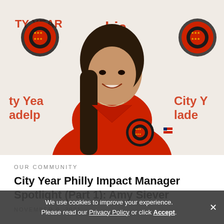[Figure (photo): Young woman with long dark hair wearing a red City Year jacket with logo patch, standing in front of a City Year Philadelphia banner/backdrop. She is smiling at the camera.]
OUR COMMUNITY
City Year Philly Impact Manager Spotlight (Part 1): Amy Siever
NOVEMBER 9, 2021
We use cookies to improve your experience. Please read our Privacy Policy or click Accept.